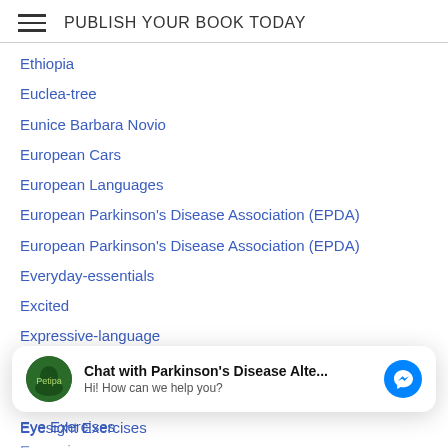PUBLISH YOUR BOOK TODAY
Ethiopia
Euclea-tree
Eunice Barbara Novio
European Cars
European Languages
European Parkinson's Disease Association (EPDA)
European Parkinson's Disease Association (EPDA)
Everyday-essentials
Excited
Expressive-language
Extinct Languages
Extracellular-matrix
Eye Exercises
Eye-pain
[Figure (screenshot): Chat overlay widget: avatar of Parkinson's Disease Alte... with messenger icon, text 'Chat with Parkinson's Disease Alte...' and 'Hi! How can we help you?']
Eyesight Exercises